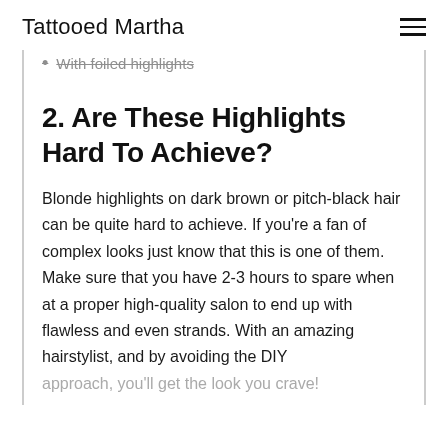Tattooed Martha
With foiled highlights
2. Are These Highlights Hard To Achieve?
Blonde highlights on dark brown or pitch-black hair can be quite hard to achieve. If you're a fan of complex looks just know that this is one of them. Make sure that you have 2-3 hours to spare when at a proper high-quality salon to end up with flawless and even strands. With an amazing hairstylist, and by avoiding the DIY approach, you'll get the look you crave!